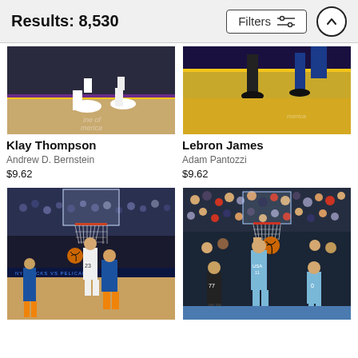Results: 8,530
[Figure (screenshot): Filters button with sliders icon and up-arrow circle button in header]
[Figure (photo): Basketball player Klay Thompson on court - cropped lower body shot showing feet and court]
Klay Thompson
Andrew D. Bernstein
$9.62
[Figure (photo): Basketball player LeBron James on court - cropped lower body shot on Lakers court]
Lebron James
Adam Pantozzi
$9.62
[Figure (photo): Basketball game action shot - player #23 driving to the basket against Knicks defenders in arena]
[Figure (photo): Basketball action shot - USA team player going up for layup during international game with crowd in background]